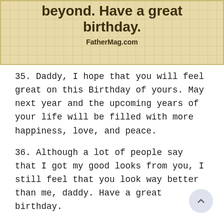[Figure (illustration): Beige/tan colored card with graph-paper grid lines showing partial text 'beyond. Have a great birthday.' in bold dark brown font, with 'FatherMag.com' attribution below in bold.]
35. Daddy, I hope that you will feel great on this Birthday of yours. May next year and the upcoming years of your life will be filled with more happiness, love, and peace.
36. Although a lot of people say that I got my good looks from you, I still feel that you look way better than me, daddy. Have a great birthday.